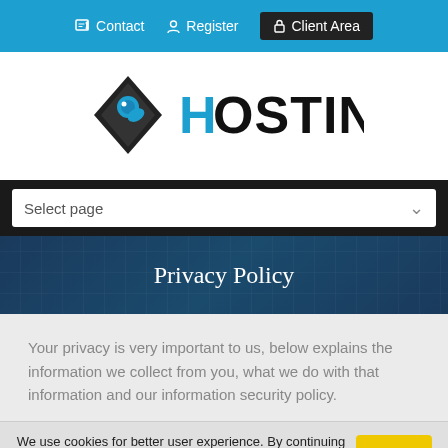Contact  Register  Client Area
[Figure (logo): B Hostin logo — diamond shaped icon with blue fish/B letter design, text reads 'HOSTIN' in black with blue H]
Select page
Privacy Policy
Your privacy is very important to us, below explains the information we collect from you, what we do with that information and our information security policy.
We use cookies for better user experience. By continuing to visit this site you agree to our use of cookies. More info